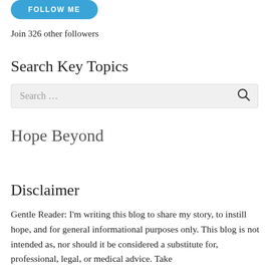[Figure (other): Blue rounded 'FOLLOW ME' button]
Join 326 other followers
Search Key Topics
[Figure (other): Search input box with placeholder text 'Search ...' and a magnifying glass icon on the right]
Hope Beyond
Disclaimer
Gentle Reader: I'm writing this blog to share my story, to instill hope, and for general informational purposes only. This blog is not intended as, nor should it be considered a substitute for, professional, legal, or medical advice. Take